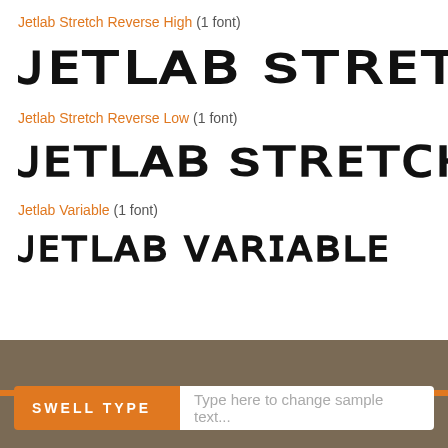Jetlab Stretch Reverse High (1 font)
[Figure (other): Font preview showing 'JETLAB STRETCH REVERSE' in a wide black geometric display typeface (High variant), text clipped at right edge]
Jetlab Stretch Reverse Low (1 font)
[Figure (other): Font preview showing 'JETLAB STRETCH REVERSE' in a wide black geometric display typeface (Low variant), text clipped at right edge]
Jetlab Variable (1 font)
[Figure (other): Font preview showing 'Jetlab Variable' in a condensed black geometric typeface]
SWELL TYPE   Type here to change sample text...